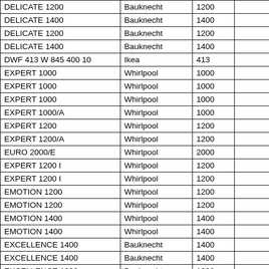| DELICATE 1200 | Bauknecht | 1200 |  |
| DELICATE 1400 | Bauknecht | 1400 |  |
| DELICATE 1200 | Bauknecht | 1200 |  |
| DELICATE 1400 | Bauknecht | 1400 |  |
| DWF 413 W 845 400 10 | Ikea | 413 |  |
| EXPERT 1000 | Whirlpool | 1000 |  |
| EXPERT 1000 | Whirlpool | 1000 |  |
| EXPERT 1000 | Whirlpool | 1000 |  |
| EXPERT 1000/A | Whirlpool | 1000 |  |
| EXPERT 1200 | Whirlpool | 1200 |  |
| EXPERT 1200/A | Whirlpool | 1200 |  |
| EURO 2000/E | Whirlpool | 2000 |  |
| EXPERT 1200 I | Whirlpool | 1200 |  |
| EXPERT 1200 I | Whirlpool | 1200 |  |
| EMOTION 1200 | Whirlpool | 1200 |  |
| EMOTION 1200 | Whirlpool | 1200 |  |
| EMOTION 1400 | Whirlpool | 1400 |  |
| EMOTION 1400 | Whirlpool | 1400 |  |
| EXCELLENCE 1400 | Bauknecht | 1400 |  |
| EXCELLENCE 1400 | Bauknecht | 1400 |  |
| EXCELLENCE 1200 | Bauknecht | 1200 |  |
| EXPERT 1200 I | Whirlpool | 1200 |  |